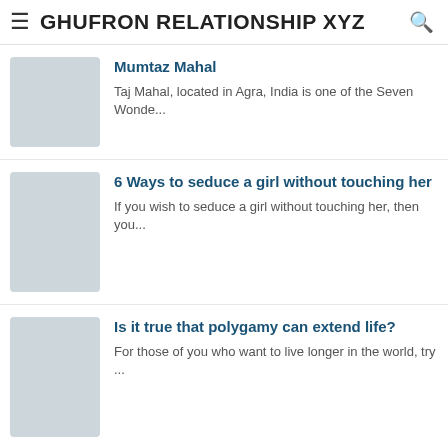≡ GHUFRON RELATIONSHIP XYZ 🔍
Mumtaz Mahal — Taj Mahal, located in Agra, India is one of the Seven Wonde...
6 Ways to seduce a girl without touching her — If you wish to seduce a girl without touching her, then you...
Is it true that polygamy can extend life? — For those of you who want to live longer in the world, try ...
6 Essential Things To Discuss Before Starting A Relationship To Avoid Unnecessary Conflict — 6 Essential Things To Discuss Before Starting A Relationshi...
^
4 Ways To Date Again After A Bad Breakup